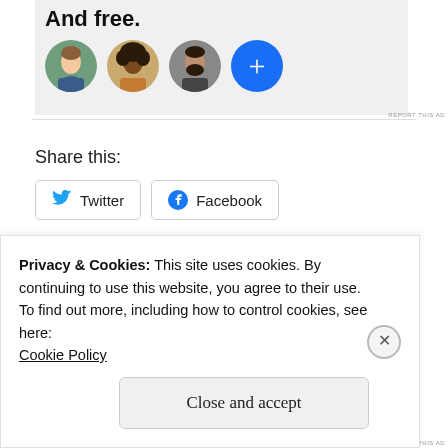[Figure (illustration): Advertisement panel with bold text 'And free.' and four circular profile photo avatars, the last being a blue circle with a white plus sign]
REPORT THIS AD
Share this:
[Figure (other): Twitter share button with bird icon]
[Figure (other): Facebook share button with F icon]
[Figure (other): Like button with blue star and two mini profile photo avatars]
Privacy & Cookies: This site uses cookies. By continuing to use this website, you agree to their use.
To find out more, including how to control cookies, see here:
Cookie Policy
Close and accept